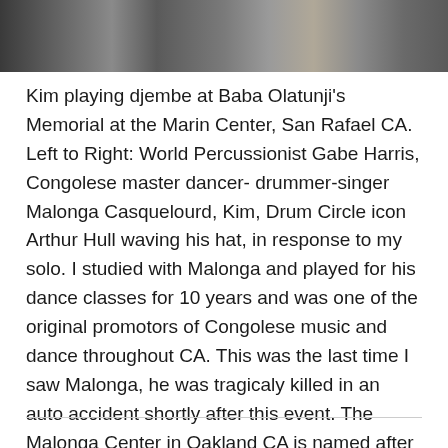[Figure (photo): A partial photo strip showing people at an event, cropped at the top of the page. Dark and muted tones.]
Kim playing djembe at Baba Olatunji's Memorial at the Marin Center, San Rafael CA.  Left to Right: World Percussionist Gabe Harris, Congolese master dancer- drummer-singer Malonga Casquelourd, Kim, Drum Circle icon Arthur Hull waving his hat, in response to my solo. I studied with Malonga and played for his dance classes for 10 years and was one of the original promotors of Congolese music and dance throughout CA. This was the last time I saw Malonga, he was tragicaly killed in an auto accident shortly after this event. The Malonga Center in Oakland CA is named after him.